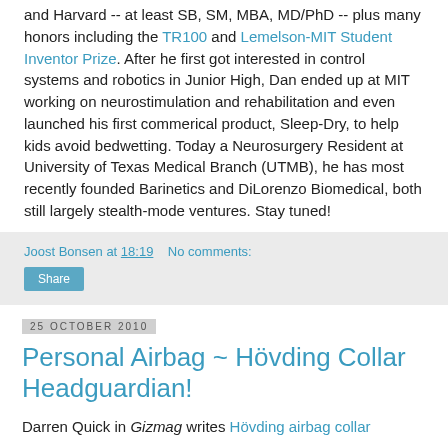and Harvard -- at least SB, SM, MBA, MD/PhD -- plus many honors including the TR100 and Lemelson-MIT Student Inventor Prize. After he first got interested in control systems and robotics in Junior High, Dan ended up at MIT working on neurostimulation and rehabilitation and even launched his first commerical product, Sleep-Dry, to help kids avoid bedwetting. Today a Neurosurgery Resident at University of Texas Medical Branch (UTMB), he has most recently founded Barinetics and DiLorenzo Biomedical, both still largely stealth-mode ventures. Stay tuned!
Joost Bonsen at 18:19   No comments:
Share
25 October 2010
Personal Airbag ~ Hövding Collar Headguardian!
Darren Quick in Gizmag writes Hövding airbag collar